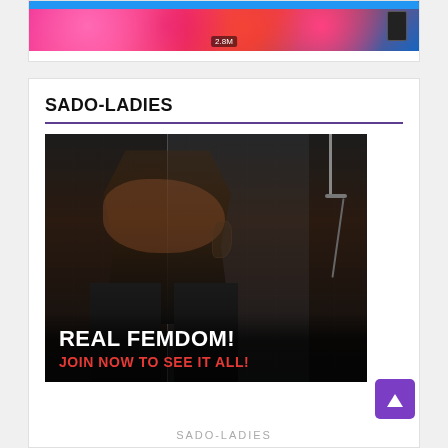[Figure (screenshot): Partial top card showing a cropped image strip with colorful background (pink/red tones) and a counter showing '2.8M']
SADO-LADIES
[Figure (photo): Dark promotional image showing a figure in latex/leather in a shower setting, with overlay text 'REAL FEMDOM!' in white and 'JOIN NOW TO SEE IT ALL!' in red]
SADO-LADIES